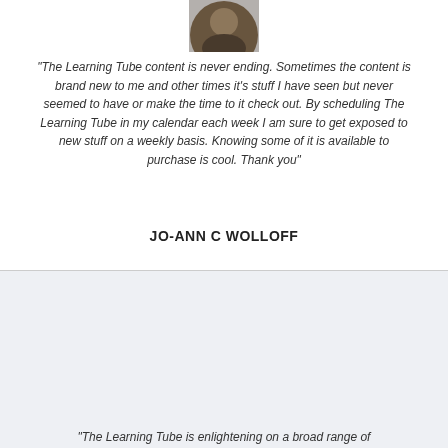[Figure (photo): Circular avatar photo of a person, partially cropped at top of page]
"The Learning Tube content is never ending. Sometimes the content is brand new to me and other times it's stuff I have seen but never seemed to have or make the time to it check out. By scheduling The Learning Tube in my calendar each week I am sure to get exposed to new stuff on a weekly basis. Knowing some of it is available to purchase is cool. Thank you"
JO-ANN C WOLLOFF
[Figure (photo): Circular portrait photo of an older man with glasses and grey/white hair, smiling]
"The Learning Tube is enlightening on a broad range of